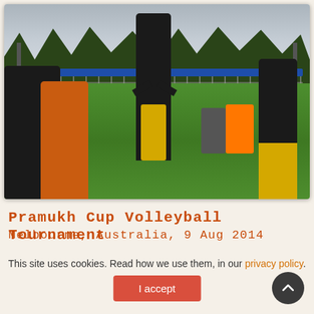[Figure (photo): Outdoor volleyball tournament on grass. Players in black and yellow uniforms playing at a net with a blue top band. Background shows trees and a building. Spectators seated on sidelines.]
Pramukh Cup Volleyball Tournament
Melbourne, Australia, 9 Aug 2014
This site uses cookies. Read how we use them, in our privacy policy.
I accept